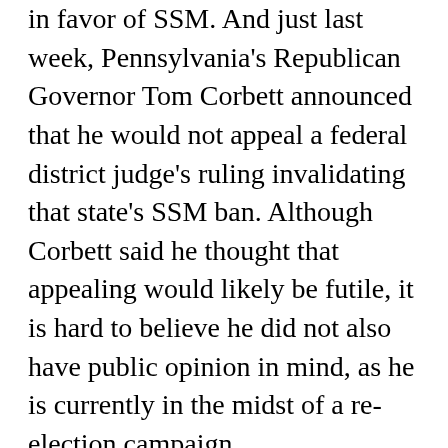in favor of SSM. And just last week, Pennsylvania's Republican Governor Tom Corbett announced that he would not appeal a federal district judge's ruling invalidating that state's SSM ban. Although Corbett said he thought that appealing would likely be futile, it is hard to believe he did not also have public opinion in mind, as he is currently in the midst of a re-election campaign.
By the time the U.S. Supreme Court rules on the constitutionality of state SSM bans—probably about a year from now—there will no longer be much risk that recognizing a right to SSM will put the Court out of step with the country. By then it will be clear, as it is already clear to every judge to have ruled since Windsor, that it is, in Justice Scalia's peculiar